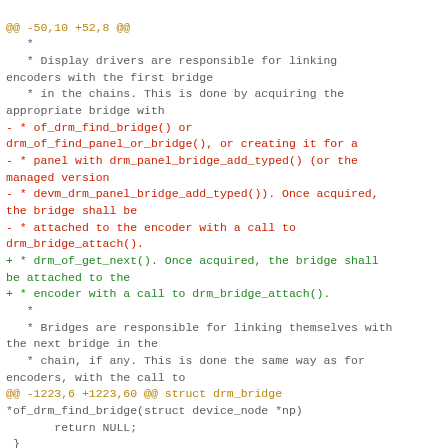@@ -50,10 +52,8 @@
   *
   * Display drivers are responsible for linking encoders with the first bridge
   * in the chains. This is done by acquiring the appropriate bridge with
 - * of_drm_find_bridge() or drm_of_find_panel_or_bridge(), or creating it for a
 - * panel with drm_panel_bridge_add_typed() (or the managed version
 - * devm_drm_panel_bridge_add_typed()). Once acquired, the bridge shall be
 - * attached to the encoder with a call to drm_bridge_attach().
 + * drm_of_get_next(). Once acquired, the bridge shall be attached to the
 + * encoder with a call to drm_bridge_attach().
   *
   * Bridges are responsible for linking themselves with the next bridge in the
   * chain, if any. This is done the same way as for encoders, with the call to
@@ -1223,6 +1223,60 @@ struct drm_bridge
*of_drm_find_bridge(struct device_node *np)
        return NULL;
 }
 EXPORT_SYMBOL(of_drm_find_bridge);
+
+/**